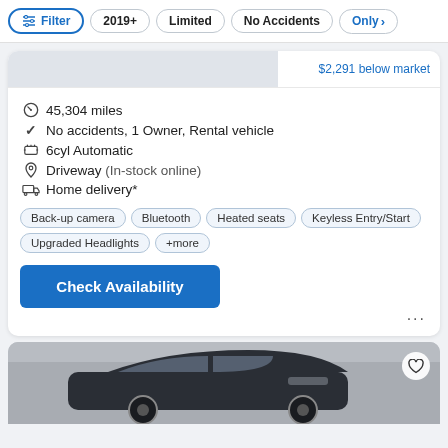Filter | 2019+ | Limited | No Accidents | Only >
$2,291 below market
45,304 miles
No accidents, 1 Owner, Rental vehicle
6cyl Automatic
Driveway (In-stock online)
Home delivery*
Back-up camera
Bluetooth
Heated seats
Keyless Entry/Start
Upgraded Headlights
+more
Check Availability
[Figure (photo): Partial view of a dark sedan car from the front/side angle in a light indoor setting]